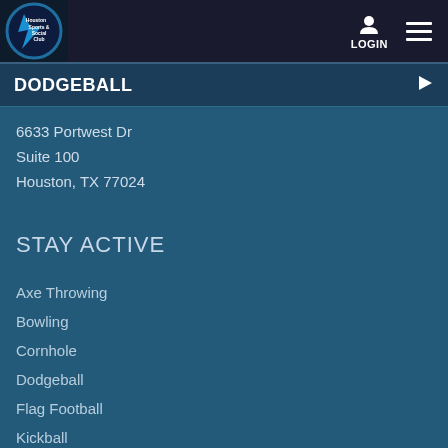[Figure (logo): Houston Sports and Social Club logo — circular badge with blue and white design]
LOGIN  ≡
DODGEBALL
6633 Portwest Dr
Suite 100
Houston, TX 77024
STAY ACTIVE
Axe Throwing
Bowling
Cornhole
Dodgeball
Flag Football
Kickball
Sand Volleyball
Soccer
Softball
Tournaments